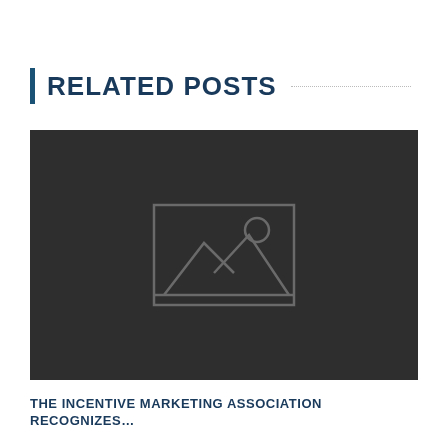RELATED POSTS
[Figure (illustration): Dark gray placeholder image block with a centered image placeholder icon (rectangle outline with mountain/landscape silhouette and circle for sun)]
THE INCENTIVE MARKETING ASSOCIATION RECOGNIZES…